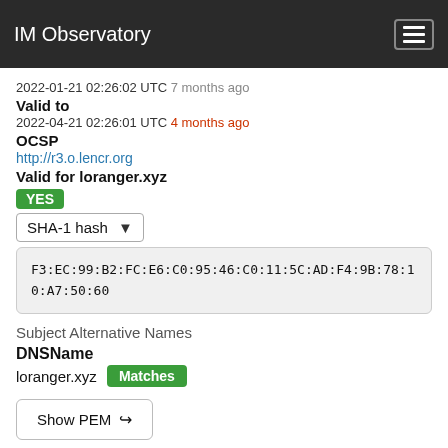IM Observatory
2022-01-21 02:26:02 UTC 7 months ago
Valid to
2022-04-21 02:26:01 UTC 4 months ago
OCSP
http://r3.o.lencr.org
Valid for loranger.xyz
YES
SHA-1 hash
F3:EC:99:B2:FC:E6:C0:95:46:C0:11:5C:AD:F4:9B:78:10:A7:50:60
Subject Alternative Names
DNSName
loranger.xyz Matches
Show PEM